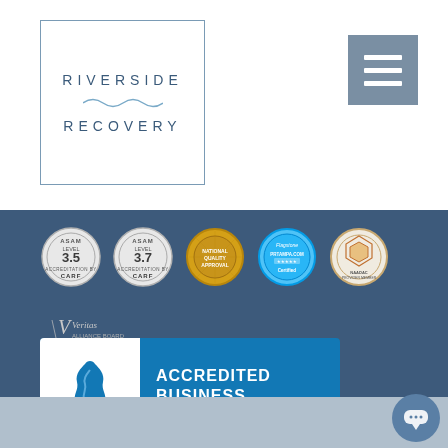[Figure (logo): Riverside Recovery logo in a rectangular border with wavy line between the two words]
[Figure (illustration): Hamburger menu icon — three horizontal white lines on a grey-blue square background]
[Figure (illustration): Row of five certification/accreditation badges: ASAM Level 3.5 CARF, ASAM Level 3.7 CARF, gold commission seal, Flagstone PRTAMPA.COM Certified, NAADAC Provider Member]
[Figure (logo): Veritas Alliance Board small cursive logo]
[Figure (logo): BBB Accredited Business badge with blue background showing ACCREDITED BUSINESS text]
BBB Rating: A+
Call Now